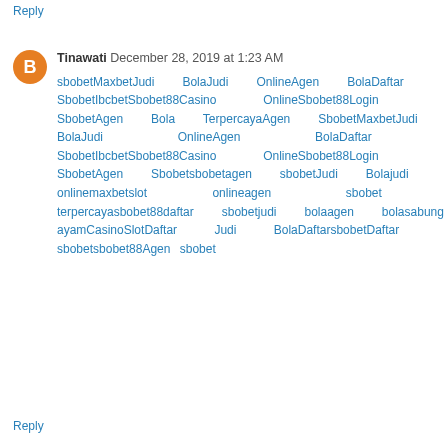Reply
Tinawati December 28, 2019 at 1:23 AM
sbobetMaxbetJudi BolaJudi OnlineAgen BolaDaftar SbobetIbcbetSbobet88Casino OnlineSbobet88Login SbobetAgen Bola TerpercayaAgen SbobetMaxbetJudi BolaJudi OnlineAgen BolaDaftar SbobetIbcbetSbobet88Casino OnlineSbobet88Login SbobetAgen Sbobetsbobetagen sbobetJudi Bolajudi onlinemaxbetslot onlineagen sbobet terpercayasbobet88daftar sbobetjudi bolaagen bolasabung ayamCasinoSlotDaftar Judi BolaDaftarsbobetDaftar sbobetsbobet88Agen sbobet
Reply